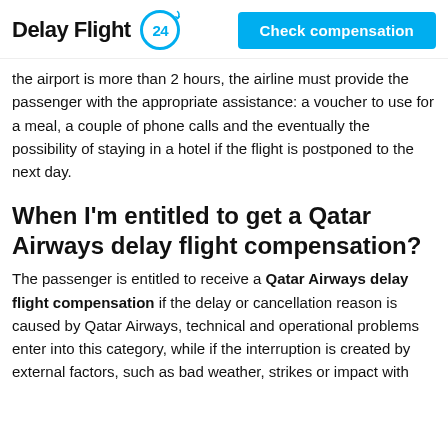Delay Flight 24 | Check compensation
the airport is more than 2 hours, the airline must provide the passenger with the appropriate assistance: a voucher to use for a meal, a couple of phone calls and the eventually the possibility of staying in a hotel if the flight is postponed to the next day.
When I'm entitled to get a Qatar Airways delay flight compensation?
The passenger is entitled to receive a Qatar Airways delay flight compensation if the delay or cancellation reason is caused by Qatar Airways, technical and operational problems enter into this category, while if the interruption is created by external factors, such as bad weather, strikes or impact with birds. Qatar Airways cannot be held responsible for the delay.